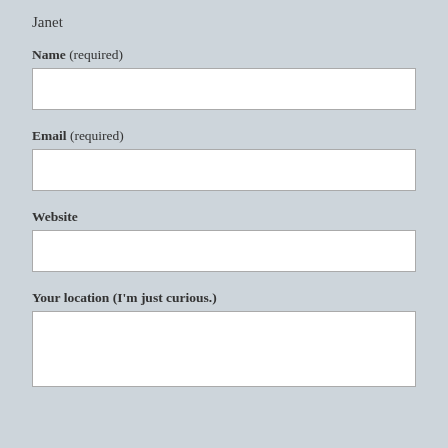Janet
Name (required)
[Figure (other): Empty text input field for Name]
Email (required)
[Figure (other): Empty text input field for Email]
Website
[Figure (other): Empty text input field for Website]
Your location (I'm just curious.)
[Figure (other): Empty textarea for location]